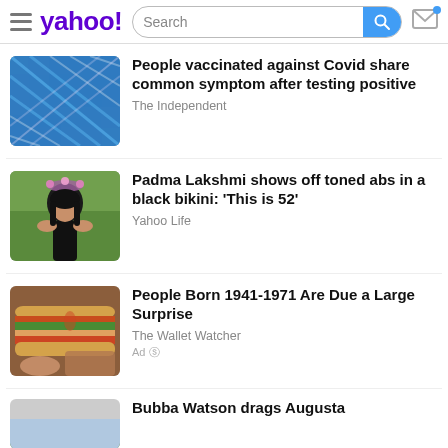Yahoo! [Search bar] [Mail icon]
[Figure (screenshot): Blue woven/textile pattern thumbnail]
People vaccinated against Covid share common symptom after testing positive
The Independent
[Figure (photo): Woman with flower crown in black bikini]
Padma Lakshmi shows off toned abs in a black bikini: ‘This is 52’
Yahoo Life
[Figure (photo): Person holding a large sandwich/burger]
People Born 1941-1971 Are Due a Large Surprise
The Wallet Watcher
Ad
[Figure (photo): Partial thumbnail of outdoor scene]
Bubba Watson drags Augusta